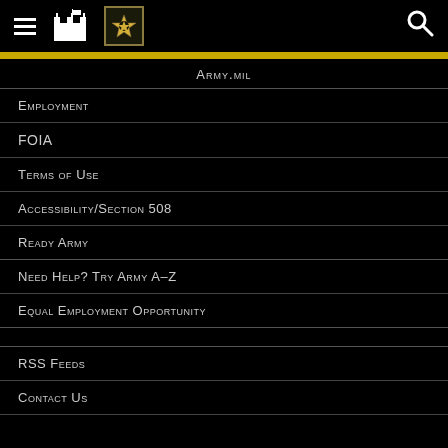[Figure (screenshot): Army.mil website header with hamburger menu, fort icon, US Army star logo, and search icon on black background]
Army.mil
Employment
FOIA
Terms of Use
Accessibility/Section 508
Ready Army
Need Help? Try Army A-Z
Equal Employment Opportunity
RSS Feeds
Contact Us